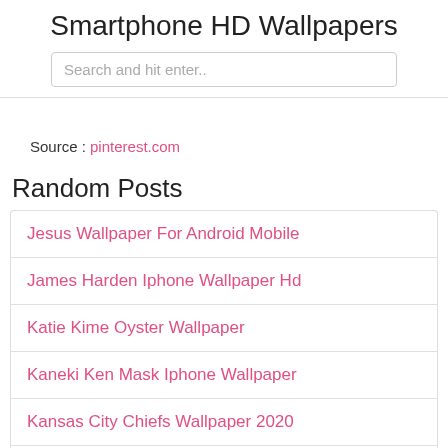Smartphone HD Wallpapers
Search and hit enter..
Source : pinterest.com
Random Posts
Jesus Wallpaper For Android Mobile
James Harden Iphone Wallpaper Hd
Katie Kime Oyster Wallpaper
Kaneki Ken Mask Iphone Wallpaper
Kansas City Chiefs Wallpaper 2020
Iron Man Wallpaper Iphone Xr